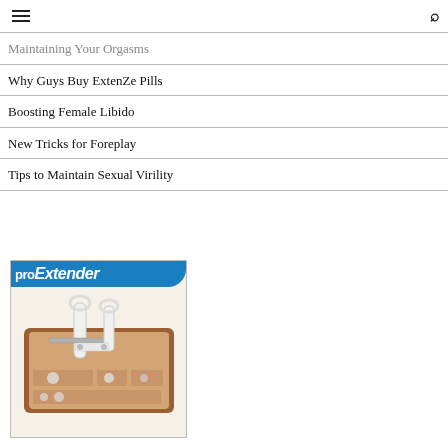≡  🔍
Maintaining Your Orgasms
Why Guys Buy ExtenZe Pills
Boosting Female Libido
New Tricks for Foreplay
Tips to Maintain Sexual Virility
[Figure (photo): ProExtender device advertisement showing a medical/traction device in a wooden case with the ProExtender logo at top]